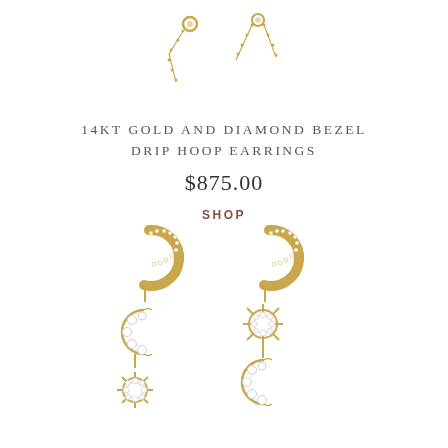[Figure (photo): Top portion of gold chain earrings with diamond bezel detail on white background]
14KT GOLD AND DIAMOND BEZEL DRIP HOOP EARRINGS
$875.00
SHOP
[Figure (photo): Two gold hoop earrings with diamond-encrusted hoops; left earring has a crescent moon charm with a sun below, right earring has a star/sunburst charm with a crescent moon below, all set with white stones on white background]